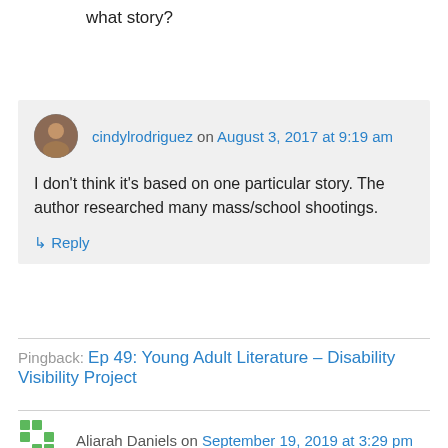what story?
↳ Reply
cindylrodriguez on August 3, 2017 at 9:19 am
I don't think it's based on one particular story. The author researched many mass/school shootings.
↳ Reply
Pingback: Ep 49: Young Adult Literature – Disability Visibility Project
Aliarah Daniels on September 19, 2019 at 3:29 pm